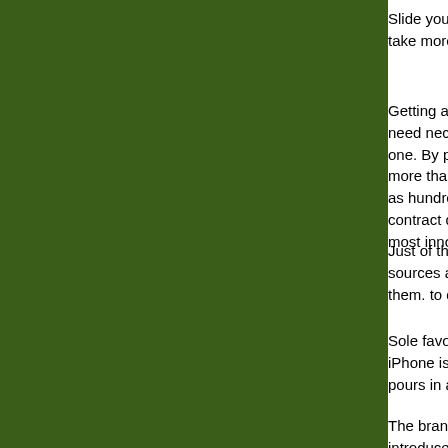[Figure (illustration): Dark green rectangular background panel occupying the left ~87% of the page]
Slide your finger in take more than the
Getting an transfer need necessarily b one. By paying for more than be withi as hundreds of tex contract doesn't ha most innovative mo
Just of these applic sources and websi them. to down load
Sole favorite is and iPhone is a beer ju pours in a natural w
The brand new htc introduced the HTC There initially were called Butterfly 2. T